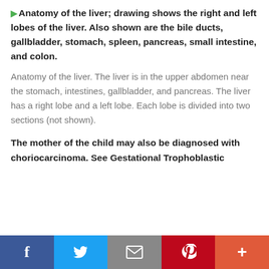Anatomy of the liver; drawing shows the right and left lobes of the liver. Also shown are the bile ducts, gallbladder, stomach, spleen, pancreas, small intestine, and colon.
Anatomy of the liver. The liver is in the upper abdomen near the stomach, intestines, gallbladder, and pancreas. The liver has a right lobe and a left lobe. Each lobe is divided into two sections (not shown).
The mother of the child may also be diagnosed with choriocarcinoma. See Gestational Trophoblastic
[Figure (infographic): Social media sharing bar with buttons: Facebook (blue), Twitter (light blue), Email (gray), Pinterest (red), More (orange-red)]